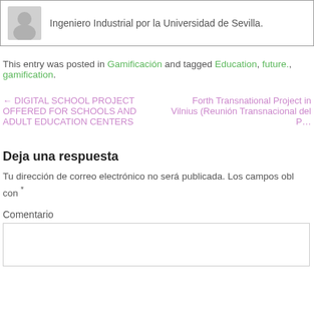[Figure (illustration): Author avatar (gray silhouette) in a bordered box with text: Ingeniero Industrial por la Universidad de Sevilla.]
This entry was posted in Gamificación and tagged Education, future., gamification.
← DIGITAL SCHOOL PROJECT OFFERED FOR SCHOOLS AND ADULT EDUCATION CENTERS
Forth Transnational Project in Vilnius (Reunión Transnacional del P…
Deja una respuesta
Tu dirección de correo electrónico no será publicada. Los campos obl con *
Comentario